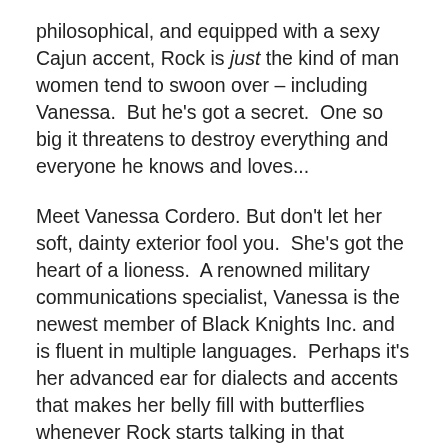philosophical, and equipped with a sexy Cajun accent, Rock is just the kind of man women tend to swoon over – including Vanessa.  But he's got a secret.  One so big it threatens to destroy everything and everyone he knows and loves...
Meet Vanessa Cordero. But don't let her soft, dainty exterior fool you.  She's got the heart of a lioness.  A renowned military communications specialist, Vanessa is the newest member of Black Knights Inc. and is fluent in multiple languages.  Perhaps it's her advanced ear for dialects and accents that makes her belly fill with butterflies whenever Rock starts talking in that smooth, drawling Cajun French of his, or